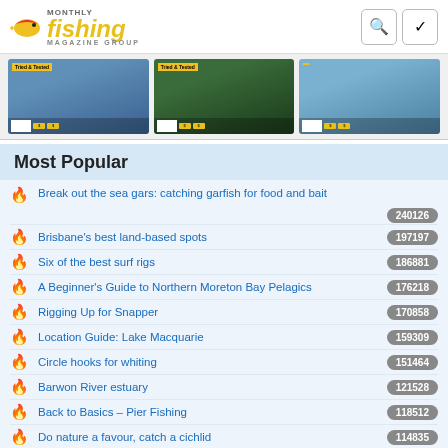Monthly Fishing Magazine Group
[Figure (photo): Three fishing magazine covers shown in a strip]
Most Popular
Break out the sea gars: catching garfish for food and bait — 240126
Brisbane's best land-based spots — 197197
Six of the best surf rigs — 186881
A Beginner's Guide to Northern Moreton Bay Pelagics — 176218
Rigging Up for Snapper — 170858
Location Guide: Lake Macquarie — 159309
Circle hooks for whiting — 151464
Barwon River estuary — 121528
Back to Basics – Pier Fishing — 118512
Do nature a favour, catch a cichlid — 114835